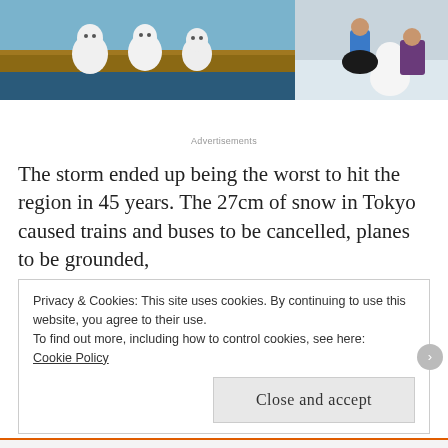[Figure (photo): Two photos side by side: left shows small snowmen figurines sitting on a wooden ledge with water/blue sky behind them; right shows a child in blue jacket and a woman in purple coat building a snowman in snowy conditions.]
Advertisements
The storm ended up being the worst to hit the region in 45 years. The 27cm of snow in Tokyo caused trains and buses to be cancelled, planes to be grounded,
Privacy & Cookies: This site uses cookies. By continuing to use this website, you agree to their use.
To find out more, including how to control cookies, see here:
Cookie Policy

Close and accept